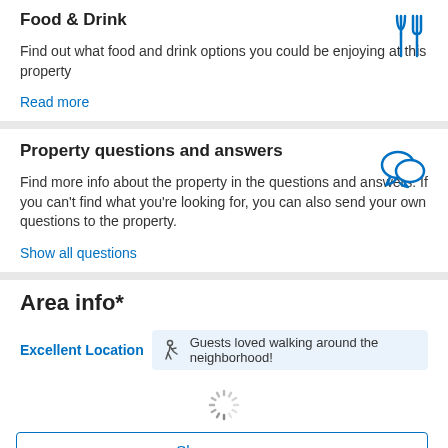Food & Drink
Find out what food and drink options you could be enjoying at this property
Read more
Property questions and answers
Find more info about the property in the questions and answers. If you can't find what you're looking for, you can also send your own questions to the property.
Show all questions
Area info*
Excellent Location  Guests loved walking around the neighborhood!
[Figure (other): Loading spinner]
Show on map